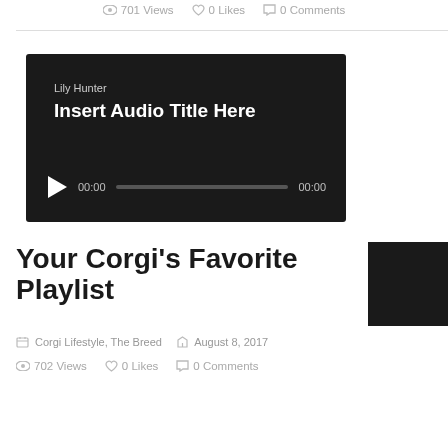701 Views  0 Likes  0 Comments
[Figure (other): Audio player widget with dark background showing artist name 'Lily Hunter', title 'Insert Audio Title Here', play button, progress bar, and timestamps 00:00 / 00:00]
Your Corgi's Favorite Playlist
Corgi Lifestyle, The Breed  August 8, 2017
702 Views  0 Likes  0 Comments